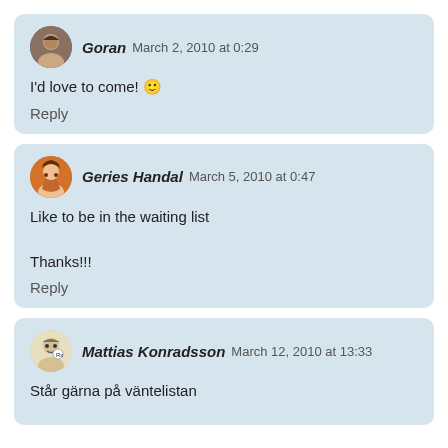Goran March 2, 2010 at 0:29 — I'd love to come! 🙂 — Reply
Geries Handal March 5, 2010 at 0:47 — Like to be in the waiting list
Thanks!!! — Reply
Mattias Konradsson March 12, 2010 at 13:33 — Står gärna på väntelistan